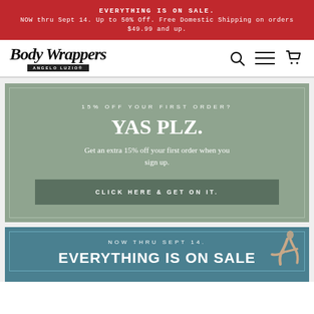EVERYTHING IS ON SALE. NOW thru Sept 14. Up to 50% Off. Free Domestic Shipping on orders $49.99 and up.
[Figure (logo): Body Wrappers Angelo Luzio script logo with black box subtitle]
[Figure (infographic): 15% OFF YOUR FIRST ORDER? YAS PLZ. Get an extra 15% off your first order when you sign up. CLICK HERE & GET ON IT. button on sage green background]
[Figure (infographic): NOW THRU SEPT 14. EVERYTHING IS ON SALE text on teal background with dancer image]